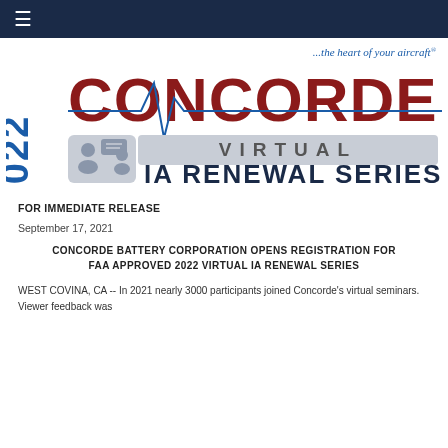[Figure (logo): Concorde 2022 Virtual IA Renewal Series logo with tagline '...the heart of your aircraft']
FOR IMMEDIATE RELEASE
September 17, 2021
CONCORDE BATTERY CORPORATION OPENS REGISTRATION FOR FAA APPROVED 2022 VIRTUAL IA RENEWAL SERIES
WEST COVINA, CA -- In 2021 nearly 3000 participants joined Concorde's virtual seminars.  Viewer feedback was